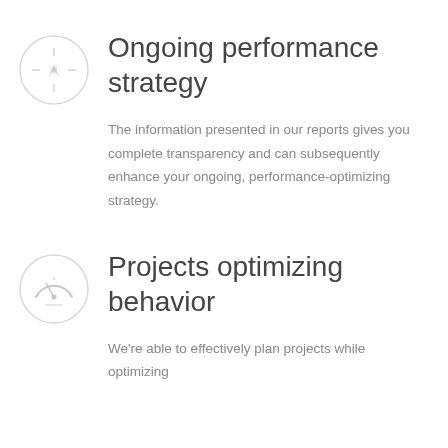[Figure (illustration): Light gray circle with a compass icon inside]
Ongoing performance strategy
The information presented in our reports gives you complete transparency and can subsequently enhance your ongoing, performance-optimizing strategy.
[Figure (illustration): Light gray circle with a speedometer/gauge icon inside]
Projects optimizing behavior
We're able to effectively plan projects while optimizing